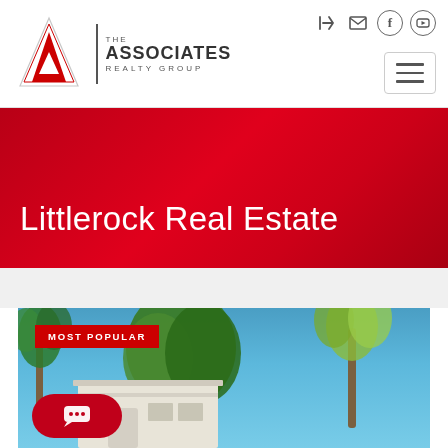[Figure (logo): The Associates Realty Group logo — red triangle/A shape with vertical bar and company name text]
Navigation icons: login, email, Facebook, YouTube, hamburger menu
Littlerock Real Estate
[Figure (photo): Property photo showing a house with white walls under a bright blue sky with palm trees and green trees in the background. A red 'MOST POPULAR' badge is overlaid at the top left, and a red chat button with speech bubble dots appears at the bottom left.]